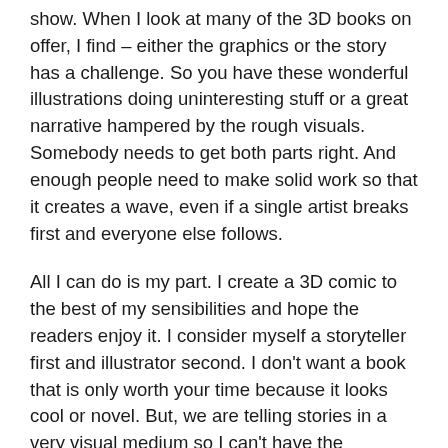show. When I look at many of the 3D books on offer, I find – either the graphics or the story has a challenge. So you have these wonderful illustrations doing uninteresting stuff or a great narrative hampered by the rough visuals. Somebody needs to get both parts right. And enough people need to make solid work so that it creates a wave, even if a single artist breaks first and everyone else follows.
All I can do is my part. I create a 3D comic to the best of my sensibilities and hope the readers enjoy it. I consider myself a storyteller first and illustrator second. I don't want a book that is only worth your time because it looks cool or novel. But, we are telling stories in a very visual medium so I can't have the limitations of my imagination or skill get in the way of the narrative.